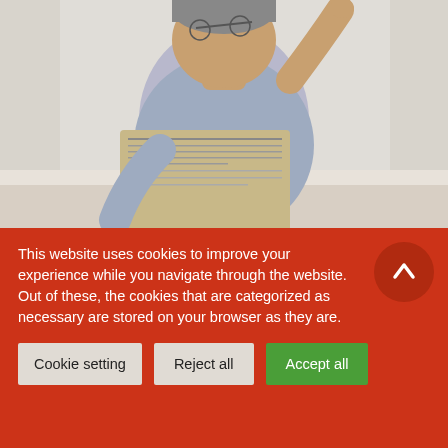[Figure (photo): Elderly man sitting and reading a newspaper, wearing a light blue shirt, holding glasses in one hand]
90% of elderly people want to grow old at home, and this is a major challenge, as homes are often no longer suitable for elderly people who are losing their independence.
Keeping older people at home is a key factor in well
This website uses cookies to improve your experience while you navigate through the website. Out of these, the cookies that are categorized as necessary are stored on your browser as they are.
Cookie setting
Reject all
Accept all